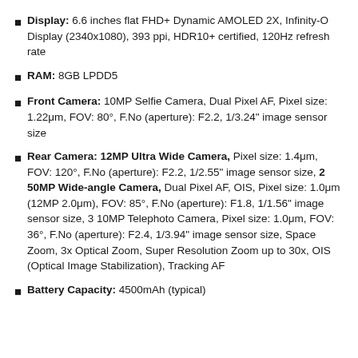Display: 6.6 inches flat FHD+ Dynamic AMOLED 2X, Infinity-O Display (2340x1080), 393 ppi, HDR10+ certified, 120Hz refresh rate
RAM: 8GB LPDD5
Front Camera: 10MP Selfie Camera, Dual Pixel AF, Pixel size: 1.22μm, FOV: 80°, F.No (aperture): F2.2, 1/3.24" image sensor size
Rear Camera: 12MP Ultra Wide Camera, Pixel size: 1.4μm, FOV: 120°, F.No (aperture): F2.2, 1/2.55" image sensor size, 2 50MP Wide-angle Camera, Dual Pixel AF, OIS, Pixel size: 1.0μm (12MP 2.0μm), FOV: 85°, F.No (aperture): F1.8, 1/1.56" image sensor size, 3 10MP Telephoto Camera, Pixel size: 1.0μm, FOV: 36°, F.No (aperture): F2.4, 1/3.94" image sensor size, Space Zoom, 3x Optical Zoom, Super Resolution Zoom up to 30x, OIS (Optical Image Stabilization), Tracking AF
Battery Capacity: 4500mAh (typical)